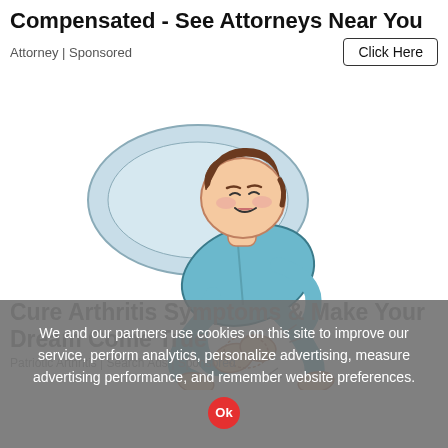Compensated - See Attorneys Near You
Attorney | Sponsored
[Figure (illustration): Cartoon illustration of a person in blue pajamas lying on a pillow, holding their leg in pain, with an expression of discomfort on their face.]
Cure Arthritis Symptoms & Make Your Dream Come True
Patriotic Arthritis | Search Ads | Sponsored
We and our partners use cookies on this site to improve our service, perform analytics, personalize advertising, measure advertising performance, and remember website preferences.
Ok